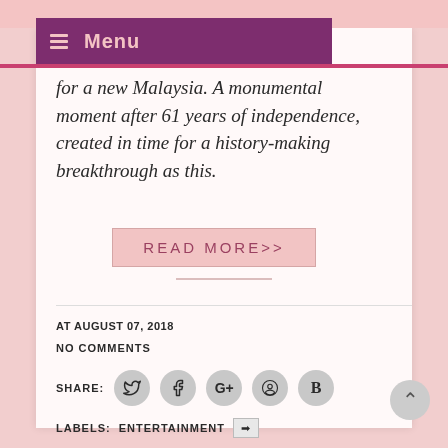Menu
for a new Malaysia. A monumental moment after 61 years of independence, created in time for a history-making breakthrough as this.
READ MORE>>
AT AUGUST 07, 2018
NO COMMENTS
SHARE:
LABELS: ENTERTAINMENT